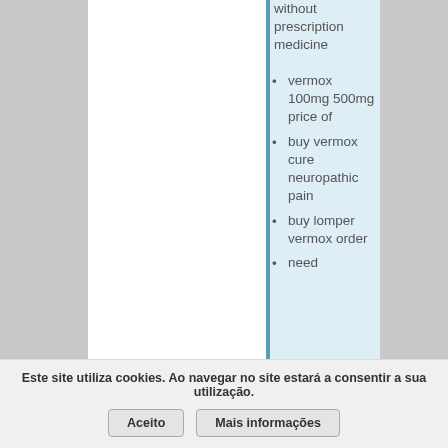without prescription medicine
vermox 100mg 500mg price of
buy vermox cure neuropathic pain
buy lomper vermox order
need
Este site utiliza cookies. Ao navegar no site estará a consentir a sua utilização.